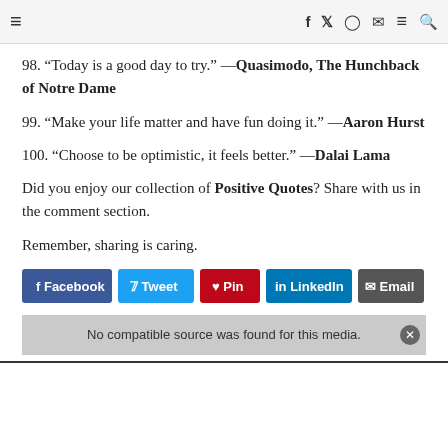≡   f  y  ○  ✉  ≡  🔍
98. “Today is a good day to try.” —Quasimodo, The Hunchback of Notre Dame
99. “Make your life matter and have fun doing it.” —Aaron Hurst
100. “Choose to be optimistic, it feels better.” —Dalai Lama
Did you enjoy our collection of Positive Quotes? Share with us in the comment section.
Remember, sharing is caring.
[Figure (infographic): Social share buttons: Facebook, Tweet, Pin, LinkedIn, Email]
No compatible source was found for this media.